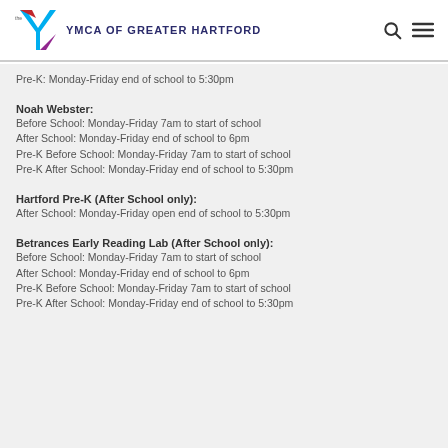YMCA OF GREATER HARTFORD
Pre-K: Monday-Friday end of school to 5:30pm
Noah Webster:
Before School: Monday-Friday 7am to start of school
After School: Monday-Friday end of school to 6pm
Pre-K Before School: Monday-Friday 7am to start of school
Pre-K After School: Monday-Friday end of school to 5:30pm
Hartford Pre-K (After School only):
After School: Monday-Friday open end of school to 5:30pm
Betrances Early Reading Lab (After School only):
Before School: Monday-Friday 7am to start of school
After School: Monday-Friday end of school to 6pm
Pre-K Before School: Monday-Friday 7am to start of school
Pre-K After School: Monday-Friday end of school to 5:30pm